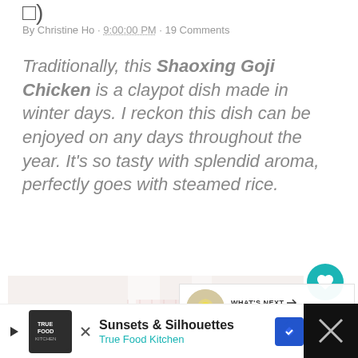□)
By Christine Ho · 9:00:00 PM · 19 Comments
Traditionally, this Shaoxing Goji Chicken is a claypot dish made in winter days. I reckon this dish can be enjoyed on any days throughout the year. It's so tasty with splendid aroma, perfectly goes with steamed rice.
[Figure (photo): Partial view of a dish/food photo with checkered fabric background, partially visible]
[Figure (infographic): What's Next overlay showing thumbnail and text: Chrysanthemum Tea with Goji...]
[Figure (infographic): Advertisement bar: True Food Kitchen - Sunsets & Silhouettes]
[Figure (other): Close/X button area in black on bottom right]